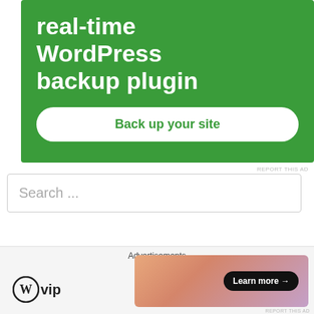[Figure (screenshot): Green advertisement banner for a real-time WordPress backup plugin with a 'Back up your site' button]
REPORT THIS AD
Search ...
[Figure (photo): Circular profile photo of a bald man]
Advertisements
[Figure (logo): WordPress VIP logo (circle W + vip text)]
[Figure (screenshot): Colorful gradient banner ad with a 'Learn more →' dark button]
REPORT THIS AD